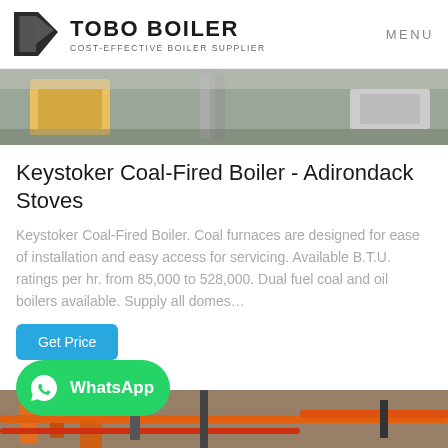TOBO BOILER COST-EFFECTIVE BOILER SUPPLIER | MENU
[Figure (photo): Outdoor industrial boiler installation photo showing workers and equipment]
Keystoker Coal-Fired Boiler - Adirondack Stoves
Keystoker Coal-Fired Boiler. Coal furnaces are designed for ease of installation and easy access for servicing. Available B.T.U. ratings per hr. from 85,000 to 528,000. Dual fuel coal and oil boilers available. Supply all domes...
[Figure (screenshot): Get Price button (blue) and WhatsApp button (green)]
[Figure (photo): Industrial boiler room interior showing orange and red pipes]